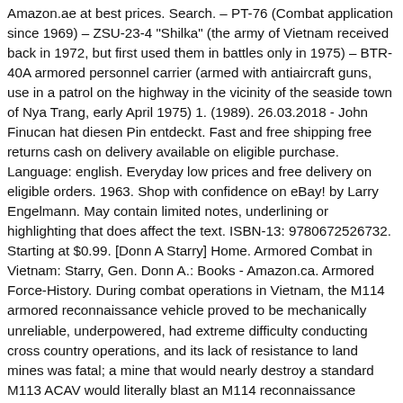Amazon.ae at best prices. Search. – PT-76 (Combat application since 1969) – ZSU-23-4 "Shilka" (the army of Vietnam received back in 1972, but first used them in battles only in 1975) – BTR-40A armored personnel carrier (armed with antiaircraft guns, use in a patrol on the highway in the vicinity of the seaside town of Nya Trang, early April 1975) 1. (1989). 26.03.2018 - John Finucan hat diesen Pin entdeckt. Fast and free shipping free returns cash on delivery available on eligible purchase. Language: english. Everyday low prices and free delivery on eligible orders. 1963. Shop with confidence on eBay! by Larry Engelmann. May contain limited notes, underlining or highlighting that does affect the text. ISBN-13: 9780672526732. Starting at $0.99. [Donn A Starry] Home. Armored Combat in Vietnam: Starry, Gen. Donn A.: Books - Amazon.ca. Armored Force-History. During combat operations in Vietnam, the M114 armored reconnaissance vehicle proved to be mechanically unreliable, underpowered, had extreme difficulty conducting cross country operations, and its lack of resistance to land mines was fatal; a mine that would nearly destroy a standard M113 ACAV would literally blast an M114 reconnaissance vehicle in half. JRATA Project No.1B-172.0: Bar Armor Kit (M113)(U). May contain limited notes, underlining or highlighting that does affect the text. 8. 1952. US Government Printing Office Don't Harness an Ox to a Racehorse: Get the M113 out of the Armored Brigade Combat Team... Now, Please?. Prime. Armored Combat in Vietnam: Starry, Donn A.: Amazon.sg: Books. It was able to cross paddy dikes and small streams, while crews were